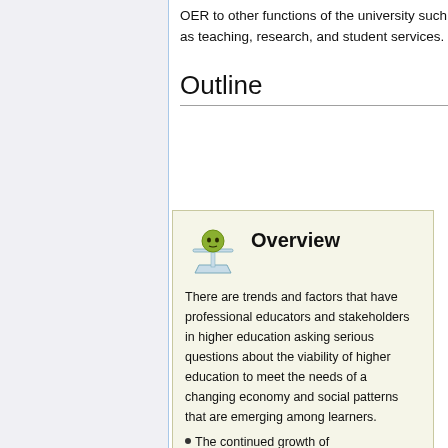OER to other functions of the university such as teaching, research, and student services.
Outline
[Figure (illustration): Icon of a scale/balance with a green face on top, representing an overview symbol]
Overview
There are trends and factors that have professional educators and stakeholders in higher education asking serious questions about the viability of higher education to meet the needs of a changing economy and social patterns that are emerging among learners.
The continued growth of